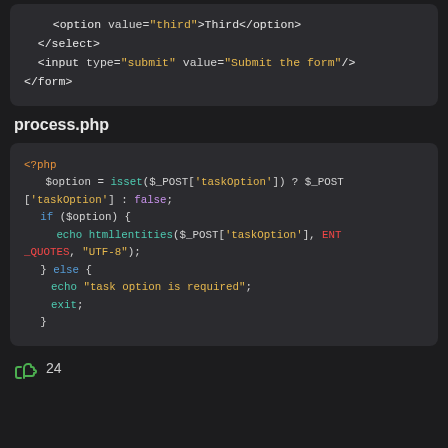[Figure (screenshot): Code snippet showing HTML select and form closing tags with syntax highlighting on dark background]
process.php
[Figure (screenshot): PHP code snippet showing process.php with isset check on $_POST taskOption, htmlentities call, else branch with echo and exit, syntax highlighted on dark background]
24 likes